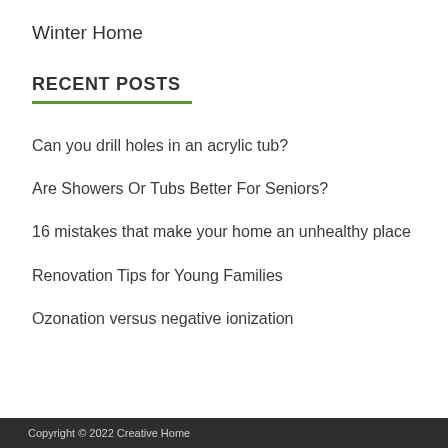Winter Home
RECENT POSTS
Can you drill holes in an acrylic tub?
Are Showers Or Tubs Better For Seniors?
16 mistakes that make your home an unhealthy place
Renovation Tips for Young Families
Ozonation versus negative ionization
Copyright © 2022 Creative Home